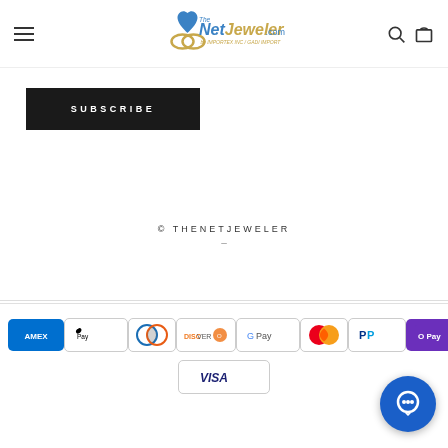The NetJeweler.com by IMPORTEX INC / GADI IMPORT
SUBSCRIBE
© THENETJEWELER
[Figure (logo): Payment method icons: American Express, Apple Pay, Diners Club, Discover, Google Pay, Mastercard, PayPal, O Pay, Visa]
[Figure (illustration): Blue circular chat/support button in bottom right]